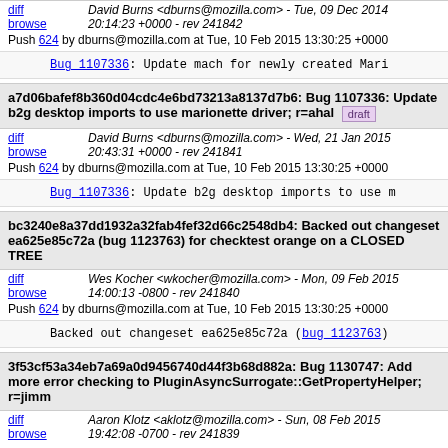David Burns <dburns@mozilla.com> - Tue, 09 Dec 2014 20:14:23 +0000 - rev 241842
Push 624 by dburns@mozilla.com at Tue, 10 Feb 2015 13:30:25 +0000
Bug_1107336: Update mach for newly created Mari
a7d06bafef8b360d04cdc4e6bd73213a8137d7b6: Bug 1107336: Update b2g desktop imports to use marionette driver; r=ahal [draft]
David Burns <dburns@mozilla.com> - Wed, 21 Jan 2015 20:43:31 +0000 - rev 241841
Push 624 by dburns@mozilla.com at Tue, 10 Feb 2015 13:30:25 +0000
Bug_1107336: Update b2g desktop imports to use m
bc3240e8a37dd1932a32fab4fef32d66c2548db4: Backed out changeset ea625e85c72a (bug 1123763) for checktest orange on a CLOSED TREE
Wes Kocher <wkocher@mozilla.com> - Mon, 09 Feb 2015 14:00:13 -0800 - rev 241840
Push 624 by dburns@mozilla.com at Tue, 10 Feb 2015 13:30:25 +0000
Backed out changeset ea625e85c72a (bug_1123763)
3f53cf53a34eb7a69a0d9456740d44f3b68d882a: Bug 1130747: Add more error checking to PluginAsyncSurrogate::GetPropertyHelper; r=jimm
Aaron Klotz <aklotz@mozilla.com> - Sun, 08 Feb 2015 19:42:08 -0700 - rev 241839